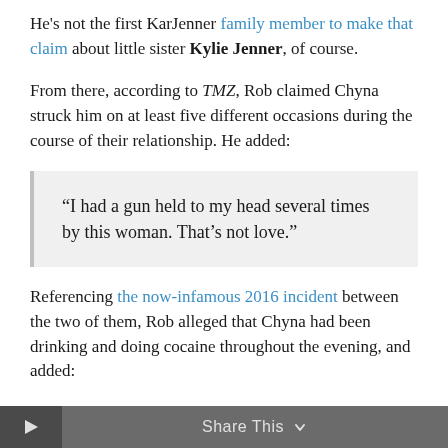He's not the first KarJenner family member to make that claim about little sister Kylie Jenner, of course.
From there, according to TMZ, Rob claimed Chyna struck him on at least five different occasions during the course of their relationship. He added:
“I had a gun held to my head several times by this woman. That’s not love.”
Referencing the now-infamous 2016 incident between the two of them, Rob alleged that Chyna had been drinking and doing cocaine throughout the evening, and added:
Share This